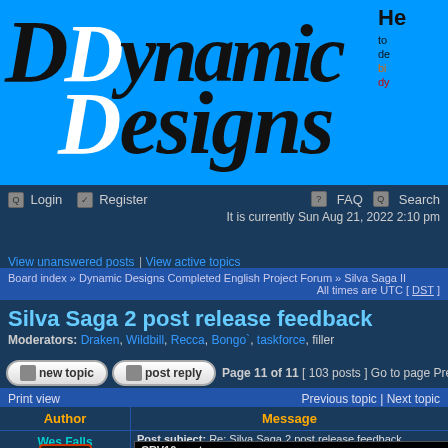[Figure (logo): Dynamic Designs forum logo — white and black stylized 'DD' text on bright blue background]
Login | Register | FAQ | Search | It is currently Sun Aug 21, 2022 2:10 pm
View unanswered posts | View active topics
Board index » Dynamic Designs Completed English Project Forum » Silva Saga II
All times are UTC [ DST ]
Silva Saga 2 post release feedback
Moderators: Draken, Wildbill, Recca, Bongo`, taskforce, filler
Page 11 of 11 [ 103 posts ] Go to page Previous
Print view | Previous topic | Next topic
| Author | Message |
| --- | --- |
| Wes Falls | Post subject: Re: Silva Saga 2 post release feedback
Posted: Mon Sep 08, 2014 10:40 pm |
offline
CRV10 wrote: